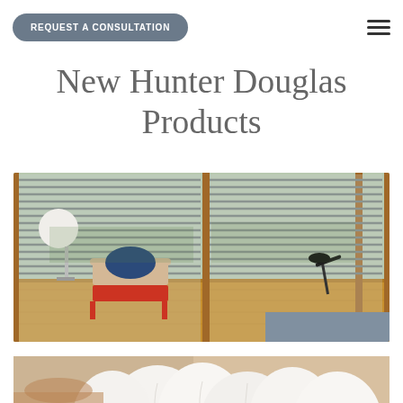REQUEST A CONSULTATION
New Hunter Douglas Products
[Figure (photo): Interior room with horizontal wood venetian blinds on floor-to-ceiling corner windows, mid-century modern red lounge chair with blue cushion, round white globe floor lamp, hardwood floors, desk lamp on right side, gray bedding visible at bottom right.]
[Figure (photo): Close-up of white peony flowers with blurred warm background, partially visible at bottom of page.]